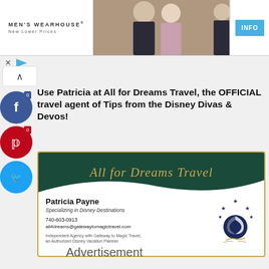[Figure (screenshot): Men's Wearhouse advertisement banner with couple in formal wear and man in suit, INFO button]
Use Patricia at All for Dreams Travel, the OFFICIAL travel agent of Tips from the Disney Divas & Devos!
[Figure (illustration): All for Dreams Travel business card for Patricia Payne, Specializing in Disney Destinations, 740-603-0913, all4dreams@gatewaytomagictravel.com, Independent Agency with Gateway to Magic Travel, an Authorized Disney Vacation Planner]
Advertisement